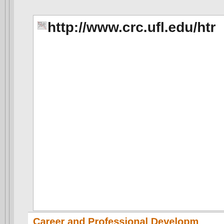[Figure (screenshot): Browser screenshot showing a partially loaded webpage with a broken image icon and truncated URL: http://www.crc.ufl.edu/htr... The page content area is white and mostly empty.]
http://www.crc.ufl.edu/htr
Career and Professional Developm...
Graduate Student...